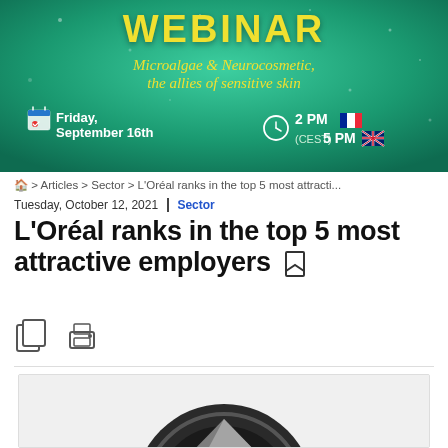[Figure (illustration): Webinar banner with teal/green background. Title 'WEBINAR' in large yellow text, subtitle 'Microalgae & Neurocosmetic, the allies of sensitive skin' in yellow italic. Date: Friday, September 16th. Time: 2 PM (French flag) / 5 PM (UK flag) CEST.]
🏠 > Articles > Sector > L'Oréal ranks in the top 5 most attracti...
Tuesday, October 12, 2021 | Sector
L'Oréal ranks in the top 5 most attractive employers
[Figure (illustration): Circular badge/award icon with dark metallic ring and angular geometric shapes in center, partially visible at bottom of page.]